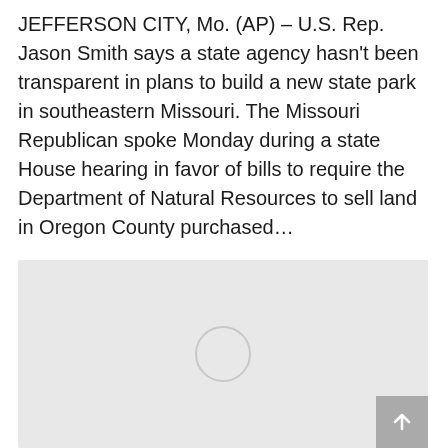JEFFERSON CITY, Mo. (AP) – U.S. Rep. Jason Smith says a state agency hasn't been transparent in plans to build a new state park in southeastern Missouri. The Missouri Republican spoke Monday during a state House hearing in favor of bills to require the Department of Natural Resources to sell land in Oregon County purchased…
[Figure (photo): A light gray placeholder image block with a circular loading indicator in the center, indicating an image that has not yet loaded.]